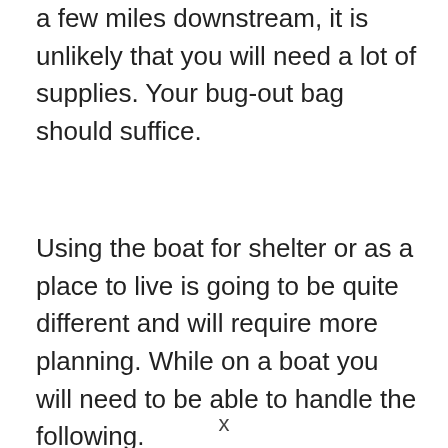a few miles downstream, it is unlikely that you will need a lot of supplies. Your bug-out bag should suffice.
Using the boat for shelter or as a place to live is going to be quite different and will require more planning. While on a boat you will need to be able to handle the following.
x